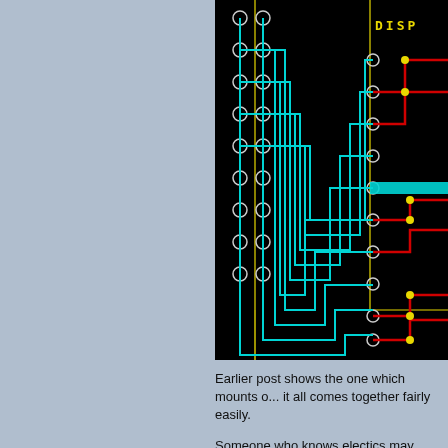[Figure (circuit-diagram): PCB circuit board schematic showing rows of through-hole pads connected by cyan/teal traces routed in stepped patterns, with red traces and yellow dots indicating connections on the right side. Yellow border lines visible. Text 'DISP' partially visible in yellow at top right. Black background.]
Earlier post shows the one which mounts o... it all comes together fairly easily.
Someone who knows electics may laugh, b... seems to work, no fires so far :)
gerber files upon request. (I do have a cou... a set on reserve for eds....) Created using...